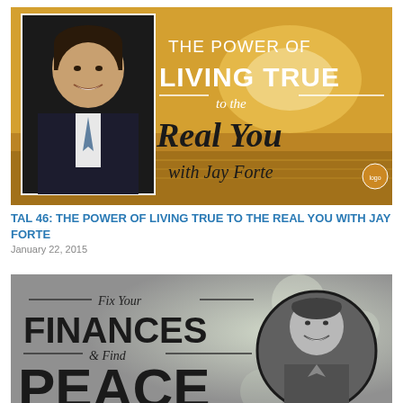[Figure (photo): Podcast thumbnail for 'The Power of Living True to the Real You with Jay Forte' — man in suit on left, orange sunset ocean background with title text on right]
TAL 46: THE POWER OF LIVING TRUE TO THE REAL YOU WITH JAY FORTE
January 22, 2015
[Figure (photo): Podcast thumbnail for 'Fix Your Finances & Find Peace' — handwritten/bold title text on left, circular black-and-white portrait of smiling man on right, blurred background]